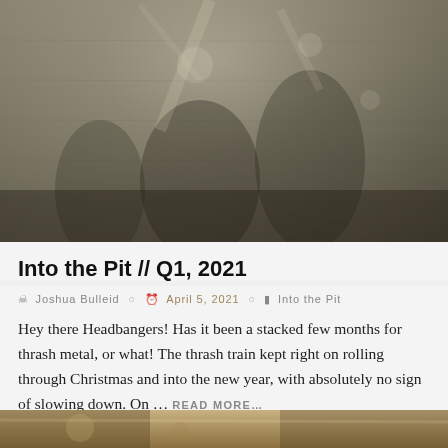[Figure (photo): Grayscale/sepia toned concert or band photo, dark and grainy, showing musicians or performers in a pit/stage setting]
Into the Pit // Q1, 2021
Joshua Bulleid   April 5, 2021   Into the Pit
Hey there Headbangers! Has it been a stacked few months for thrash metal, or what! The thrash train kept right on rolling through Christmas and into the new year, with absolutely no sign of slowing down. On … READ MORE…
[Figure (photo): Partial bottom image, cropped, warm toned photo partially visible at the bottom of the page]